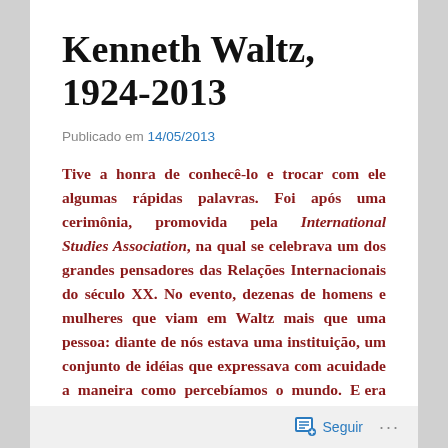Kenneth Waltz, 1924-2013
Publicado em 14/05/2013
Tive a honra de conhecê-lo e trocar com ele algumas rápidas palavras. Foi após uma cerimônia, promovida pela International Studies Association, na qual se celebrava um dos grandes pensadores das Relações Internacionais do século XX. No evento, dezenas de homens e mulheres que viam em Waltz mais que uma pessoa: diante de nós estava uma instituição, um conjunto de idéias que expressava com acuidade a maneira como percebíamos o mundo. E era geral a satisfação de ver quantos discípulos tinha